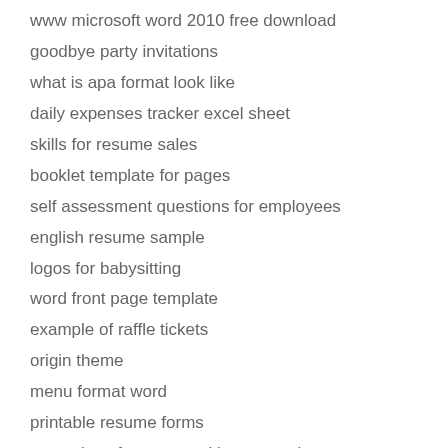www microsoft word 2010 free download
goodbye party invitations
what is apa format look like
daily expenses tracker excel sheet
skills for resume sales
booklet template for pages
self assessment questions for employees
english resume sample
logos for babysitting
word front page template
example of raffle tickets
origin theme
menu format word
printable resume forms
examples of resumes with no experience
how to make flyers online
spring invitations
good resumes examples